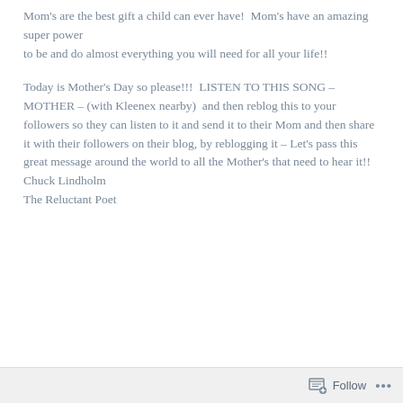Mom's are the best gift a child can ever have!  Mom's have an amazing super power to be and do almost everything you will need for all your life!!
Today is Mother's Day so please!!!  LISTEN TO THIS SONG – MOTHER – (with Kleenex nearby)  and then reblog this to your followers so they can listen to it and send it to their Mom and then share it with their followers on their blog, by reblogging it – Let's pass this great message around the world to all the Mother's that need to hear it!! Chuck Lindholm The Reluctant Poet
Follow